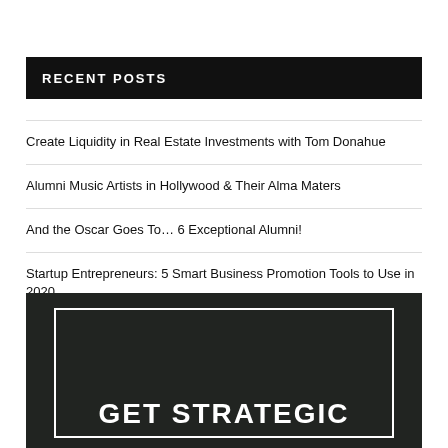RECENT POSTS
Create Liquidity in Real Estate Investments with Tom Donahue
Alumni Music Artists in Hollywood & Their Alma Maters
And the Oscar Goes To… 6 Exceptional Alumni!
Startup Entrepreneurs: 5 Smart Business Promotion Tools to Use in 2020
Professionals: Here are 10 Online Industry Events to Participate in May
[Figure (photo): Dark background image with a white bordered rectangle overlay containing the bold white text 'GET STRATEGIC']